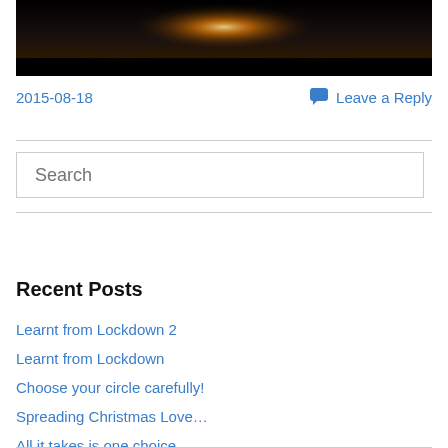[Figure (photo): Sunset or sunrise photo with dark landscape silhouette and bright glow on the horizon]
2015-08-18
Leave a Reply
Search
Recent Posts
Learnt from Lockdown 2
Learnt from Lockdown
Choose your circle carefully!
Spreading Christmas Love…
All it takes is one choice…